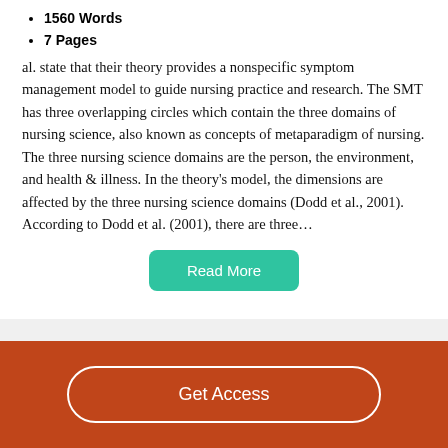1560 Words
7 Pages
al. state that their theory provides a nonspecific symptom management model to guide nursing practice and research. The SMT has three overlapping circles which contain the three domains of nursing science, also known as concepts of metaparadigm of nursing. The three nursing science domains are the person, the environment, and health & illness. In the theory's model, the dimensions are affected by the three nursing science domains (Dodd et al., 2001). According to Dodd et al. (2001), there are three…
Read More
Get Access